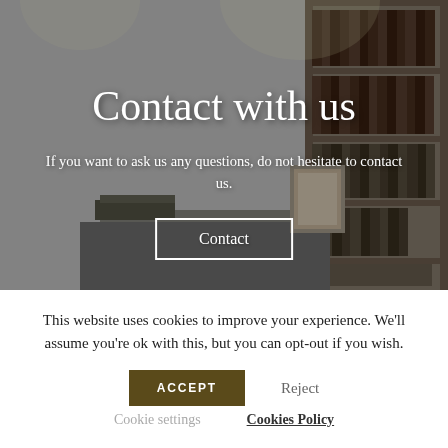[Figure (photo): Black and white photo of a law office interior with bookshelves filled with law books, a desk with documents, and ceiling spotlights.]
Contact with us
If you want to ask us any questions, do not hesitate to contact us.
Contact
This website uses cookies to improve your experience. We'll assume you're ok with this, but you can opt-out if you wish.
ACCEPT
Reject
Cookie settings
Cookies Policy